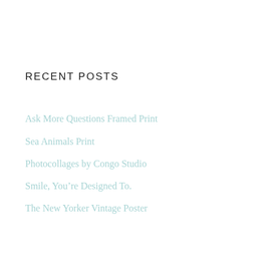RECENT POSTS
Ask More Questions Framed Print
Sea Animals Print
Photocollages by Congo Studio
Smile, You're Designed To.
The New Yorker Vintage Poster